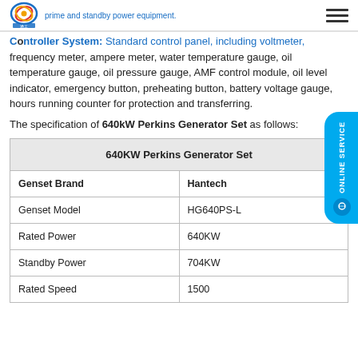prime and standby power equipment.
Controller System: Standard control panel, including voltmeter, frequency meter, ampere meter, water temperature gauge, oil temperature gauge, oil pressure gauge, AMF control module, oil level indicator, emergency button, preheating button, battery voltage gauge, hours running counter for protection and transferring.
The specification of 640kW Perkins Generator Set as follows:
| 640KW Perkins Generator Set |
| --- |
| Genset Brand | Hantech |
| Genset Model | HG640PS-L |
| Rated Power | 640KW |
| Standby Power | 704KW |
| Rated Speed | 1500 |